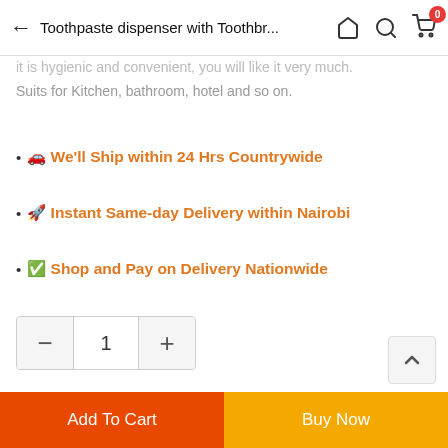Toothpaste dispenser with Toothbr...
it is hygienic and convenient, you will like it very much. Suits for Kitchen, bathroom, hotel and so on.
🚚 We'll Ship within 24 Hrs Countrywide
🚀 Instant Same-day Delivery within Nairobi
✅ Shop and Pay on Delivery Nationwide